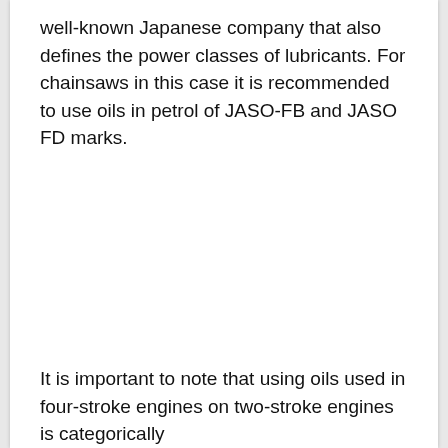well-known Japanese company that also defines the power classes of lubricants. For chainsaws in this case it is recommended to use oils in petrol of JASO-FB and JASO FD marks.
It is important to note that using oils used in four-stroke engines on two-stroke engines is categorically